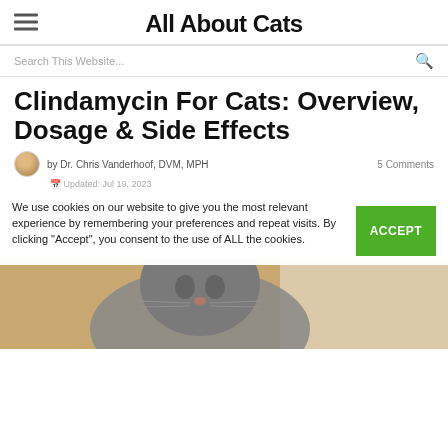All About Cats
Search This Website...
Clindamycin For Cats: Overview, Dosage & Side Effects
by Dr. Chris Vanderhoof, DVM, MPH · 5 Comments
Updated: Jul 19, 2023
We use cookies on our website to give you the most relevant experience by remembering your preferences and repeat visits. By clicking "Accept", you consent to the use of ALL the cookies.
[Figure (photo): Close-up photo of a grey tabby cat, possibly being held by a veterinarian in a clinical setting]